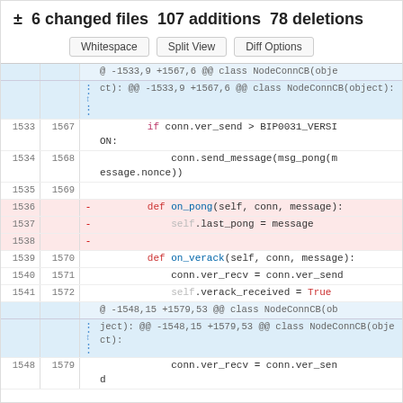± 6 changed files 107 additions 78 deletions
[Figure (screenshot): Buttons: Whitespace, Split View, Diff Options]
Code diff view showing changes to NodeConnCB class with line numbers 1533-1579, including removal of on_pong method and context around on_verack method.